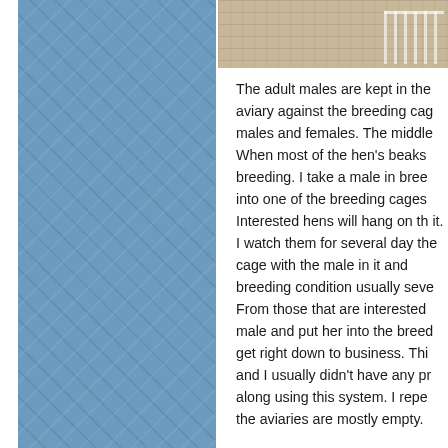[Figure (photo): Photograph of birds or aviary scene with fence/cage structure visible in upper right]
The adult males are kept in the aviary against the breeding cages males and females. The middle When most of the hen's beaks breeding. I take a male in bree into one of the breeding cages Interested hens will hang on th it. I watch them for several days the cage with the male in it and breeding condition usually seve From those that are interested male and put her into the breed get right down to business. Thi and I usually didn't have any pr along using this system. I repe the aviaries are mostly empty.
As the babies are independent they start to color up I move ma Towards the end of the breedin outside. There are two large av are moved to acclimate them to